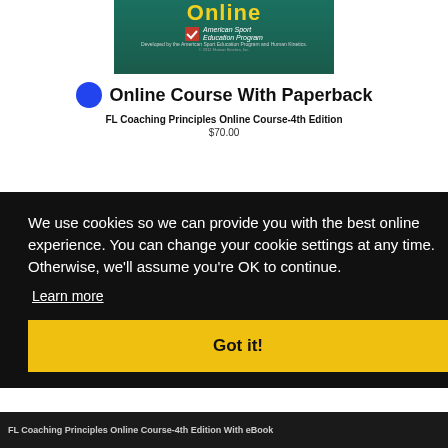[Figure (screenshot): Book cover image for Coaching Principles Online course showing teal/green background with 'Online' in yellow text and American Sport Education Program logo]
Online Course With Paperback
FL Coaching Principles Online Course-4th Edition
$70.00
We use cookies so we can provide you with the best online experience. You can change your cookie settings at any time. Otherwise, we'll assume you're OK to continue.
Learn more
Got it!
FL Coaching Principles Online Course-4th Edition With eBook